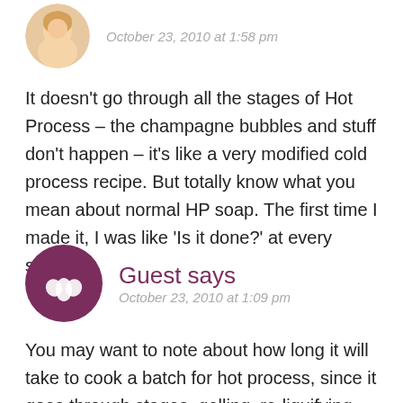October 23, 2010 at 1:58 pm
It doesn't go through all the stages of Hot Process – the champagne bubbles and stuff don't happen – it's like a very modified cold process recipe. But totally know what you mean about normal HP soap. The first time I made it, I was like 'Is it done?' at every stage! =)
Guest says
October 23, 2010 at 1:09 pm
You may want to note about how long it will take to cook a batch for hot process, since it goes through stages, gelling, re-liquifying and then cooked soap. Just so people don't get it to the first stage and throw it in a mold, they'll still have lye heavy soap